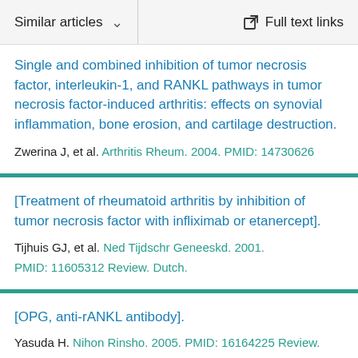Similar articles  ∨    Full text links
Single and combined inhibition of tumor necrosis factor, interleukin-1, and RANKL pathways in tumor necrosis factor-induced arthritis: effects on synovial inflammation, bone erosion, and cartilage destruction.
Zwerina J, et al. Arthritis Rheum. 2004. PMID: 14730626
[Treatment of rheumatoid arthritis by inhibition of tumor necrosis factor with infliximab or etanercept].
Tijhuis GJ, et al. Ned Tijdschr Geneeskd. 2001.
PMID: 11605312 Review. Dutch.
[OPG, anti-rANKL antibody].
Yasuda H. Nihon Rinsho. 2005. PMID: 16164225 Review.